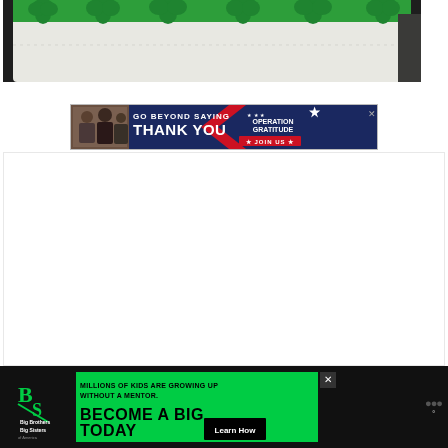[Figure (photo): Photo of a white pillow with green shamrock/clover patterned pillowcase at the top, lying on a dark surface]
[Figure (other): Operation Gratitude advertisement banner: GO BEYOND SAYING THANK YOU with military/first responder imagery and Operation Gratitude logo with JOIN US button]
[Figure (other): Big Brothers Big Sisters advertisement: MILLIONS OF KIDS ARE GROWING UP WITHOUT A MENTOR. BECOME A BIG TODAY with Learn How button, green background, dark logo area]
[Figure (other): Weather widget icon showing dots/circles on dark background]